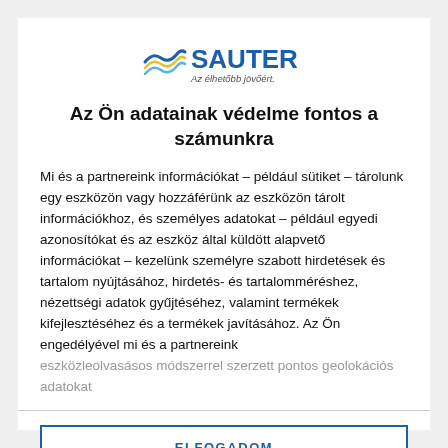[Figure (logo): SAUTER logo with wave icon and tagline 'Az élhetőbb jövőért.']
Az Ön adatainak védelme fontos a számunkra
Mi és a partnereink információkat – például sütiket – tárolunk egy eszközön vagy hozzáférünk az eszközön tárolt információkhoz, és személyes adatokat – például egyedi azonosítókat és az eszköz által küldött alapvető információkat – kezelünk személyre szabott hirdetések és tartalom nyújtásához, hirdetés- és tartalomméréshez, nézettségi adatok gyűjtéséhez, valamint termékek kifejlesztéséhez és a termékek javításához. Az Ön engedélyével mi és a partnereink eszközleolvasásos módszerrel szerzett pontos geolokációs adatokat
ELFOGADOM
TOVÁBBI LEHETŐSÉGEK